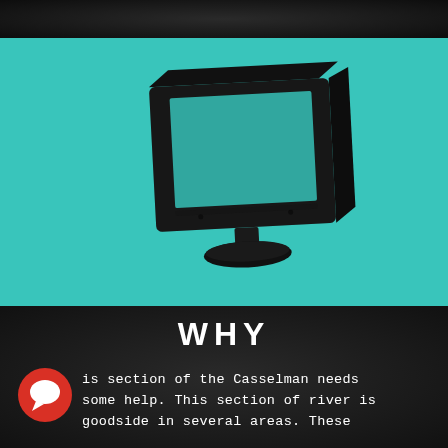[Figure (illustration): Black silhouette of a CRT computer monitor on a teal/cyan background, slightly angled/tilted perspective]
WHY
[Figure (illustration): Red circular chat bubble icon]
is section of the Casselman needs some help. This section of river is goodside in several areas. These